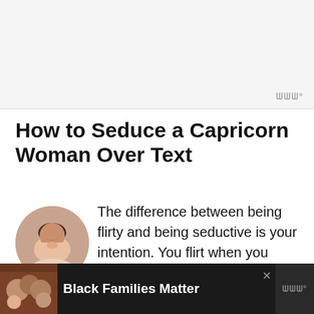[Figure (other): Advertisement banner placeholder at top of page, light gray background]
How to Seduce a Capricorn Woman Over Text
[Figure (photo): Circular author photo of a smiling young woman with dark hair, partially overlapping body text]
The difference between being flirty and being seductive is your intention. You flirt when you want to express romantic interest and show want to get to know someone better, b seduce when you are interested in a sexual relationship.
[Figure (photo): Bottom advertisement banner with dark background showing a group photo and bold text 'Black Families Matter']